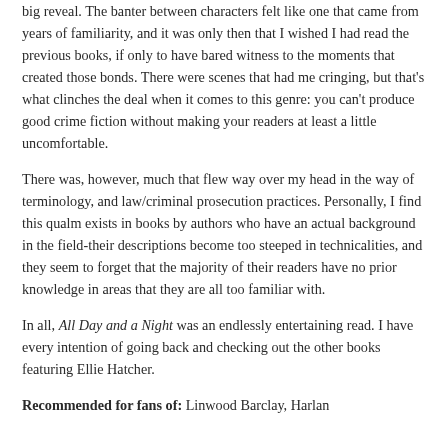big reveal. The banter between characters felt like one that came from years of familiarity, and it was only then that I wished I had read the previous books, if only to have bared witness to the moments that created those bonds. There were scenes that had me cringing, but that's what clinches the deal when it comes to this genre: you can't produce good crime fiction without making your readers at least a little uncomfortable.
There was, however, much that flew way over my head in the way of terminology, and law/criminal prosecution practices. Personally, I find this qualm exists in books by authors who have an actual background in the field-their descriptions become too steeped in technicalities, and they seem to forget that the majority of their readers have no prior knowledge in areas that they are all too familiar with.
In all, All Day and a Night was an endlessly entertaining read. I have every intention of going back and checking out the other books featuring Ellie Hatcher.
Recommended for fans of: Linwood Barclay, Harlan